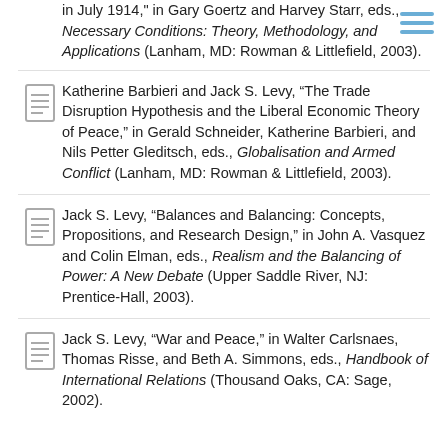in July 1914," in Gary Goertz and Harvey Starr, eds., Necessary Conditions: Theory, Methodology, and Applications (Lanham, MD: Rowman & Littlefield, 2003).
Katherine Barbieri and Jack S. Levy, “The Trade Disruption Hypothesis and the Liberal Economic Theory of Peace,” in Gerald Schneider, Katherine Barbieri, and Nils Petter Gleditsch, eds., Globalisation and Armed Conflict (Lanham, MD: Rowman & Littlefield, 2003).
Jack S. Levy, “Balances and Balancing: Concepts, Propositions, and Research Design,” in John A. Vasquez and Colin Elman, eds., Realism and the Balancing of Power: A New Debate (Upper Saddle River, NJ: Prentice-Hall, 2003).
Jack S. Levy, “War and Peace,” in Walter Carlsnaes, Thomas Risse, and Beth A. Simmons, eds., Handbook of International Relations (Thousand Oaks, CA: Sage, 2002).